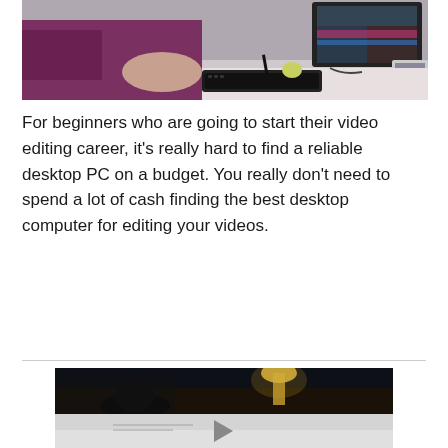[Figure (photo): Person sitting at a desk using a keyboard and stylus pen, with a large monitor displaying video editing software in the background.]
For beginners who are going to start their video editing career, it's really hard to find a reliable desktop PC on a budget. You really don't need to spend a lot of cash finding the best desktop computer for editing your videos.
[Figure (screenshot): Video player thumbnail showing a dark scene with a lamp, and a play button overlay on a light gray lower panel.]